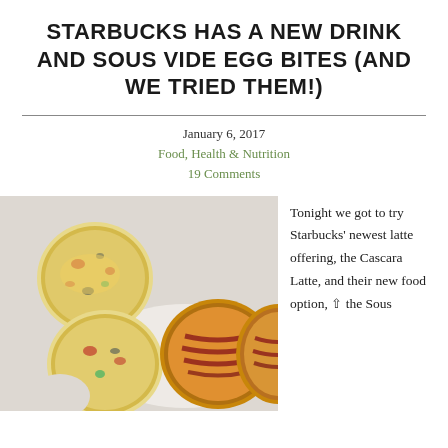STARBUCKS HAS A NEW DRINK AND SOUS VIDE EGG BITES (AND WE TRIED THEM!)
January 6, 2017
Food, Health & Nutrition
19 Comments
[Figure (photo): Four Starbucks Sous Vide Egg Bites on a white plate — two varieties visible: one with vegetables/cheese and one with bacon.]
Tonight we got to try Starbucks' newest latte offering, the Cascara Latte, and their new food option, the Sous